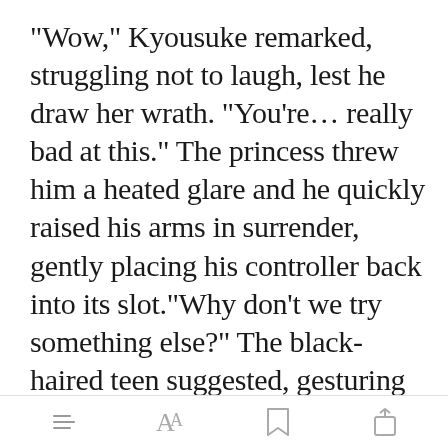"Wow," Kyousuke remarked, struggling not to laugh, lest he draw her wrath. "You're… really bad at this." The princess threw him a heated glare and he quickly raised his arms in surrender, gently placing his controller back into its slot."Why don't we try something else?" The black-haired teen suggested, gesturing towards the many rows of video games.
[Figure (screenshot): Green 'Open in app' button overlay on text]
Toolbar with menu, font, bookmark, and share icons